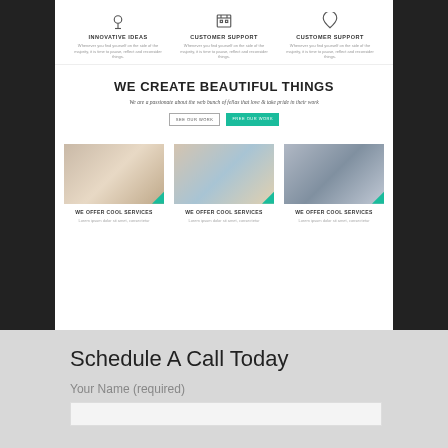[Figure (screenshot): A website screenshot showing three icon columns (Innovative Ideas, Customer Support, Customer Support), a hero section with 'WE CREATE BEAUTIFUL THINGS' heading, subtitle, and two buttons ('SEE OUR WORK', 'FREE OUR WORK'), and three service cards each with a photo, 'WE OFFER COOL SERVICES' label, and Lorem ipsum text.]
Schedule A Call Today
Your Name (required)